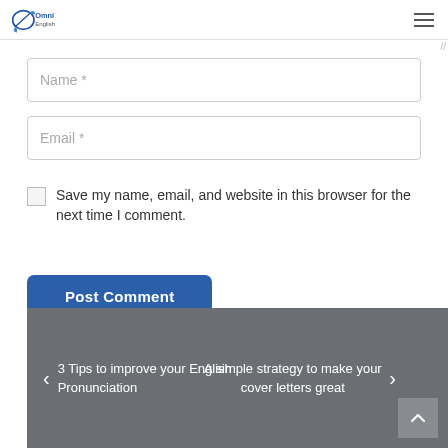Omni English logo and navigation menu
Name *
Email *
Save my name, email, and website in this browser for the next time I comment.
Post Comment
3 Tips to improve your English Pronunciation
A simple strategy to make your cover letters great